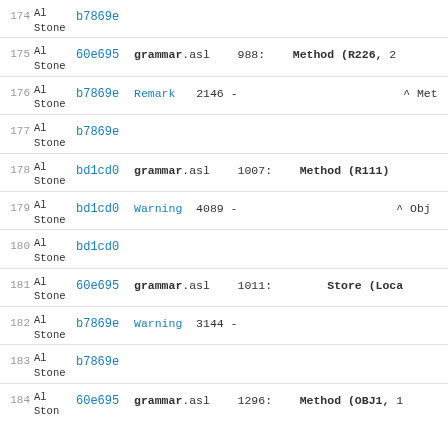| Line | Author | Commit | Code |
| --- | --- | --- | --- |
| 174 | Al Stone | b7869e |  |
| 175 | Al Stone | 60e695 | grammar.asl   988:    Method (R226, 2 |
| 176 | Al Stone | b7869e | Remark   2146 -                    ^ Met |
| 177 | Al Stone | b7869e |  |
| 178 | Al Stone | bd1cd0 | grammar.asl   1007:   Method (R111) |
| 179 | Al Stone | bd1cd0 | Warning   4089 -                 ^ Obj |
| 180 | Al Stone | bd1cd0 |  |
| 181 | Al Stone | 60e695 | grammar.asl   1011:   Store (Loca |
| 182 | Al Stone | b7869e | Warning   3144 - |
| 183 | Al Stone | b7869e |  |
| 184 | Al Stone | 60e695 | grammar.asl   1296:   Method (OBJ1, 1 |